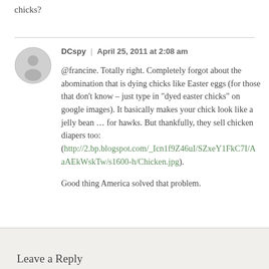chicks?
DCspy | April 25, 2011 at 2:08 am
@francine. Totally right. Completely forgot about the abomination that is dying chicks like Easter eggs (for those that don’t know – just type in “dyed easter chicks” on google images). It basically makes your chick look like a jelly bean … for hawks. But thankfully, they sell chicken diapers too: (http://2.bp.blogspot.com/_Icn1f9Z46uI/SZxeY1FkC7I/AaAEkWskTw/s1600-h/Chicken.jpg).
Good thing America solved that problem.
Leave a Reply